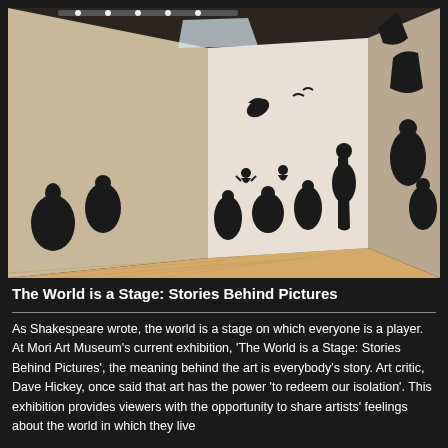[Figure (photo): Interior of an art gallery with large black silhouette figures and scenes painted or mounted on white walls. The gallery has a wooden floor and track lighting on the ceiling. The silhouettes depict Victorian-era style figures including women in large dresses, dancing figures, and various dramatic scenes. Some silhouettes appear on a right-angle wall as well.]
The World is a Stage: Stories Behind Pictures
As Shakespeare wrote, the world is a stage on which everyone is a player. At Mori Art Museum's current exhibition, 'The World is a Stage: Stories Behind Pictures', the meaning behind the art is everybody's story. Art critic, Dave Hickey, once said that art has the power 'to redeem our isolation'. This exhibition provides viewers with the opportunity to share artists' feelings about the world in which they live